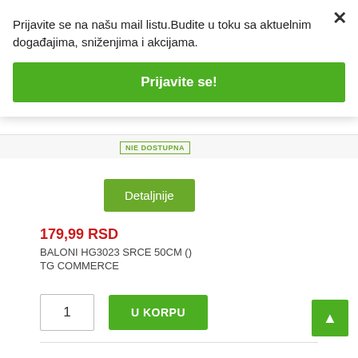Prijavite se na našu mail listu.Budite u toku sa aktuelnim događajima, sniženjima i akcijama.
Prijavite se!
NIE DOSTUPNA
Detaljnije
179,99 RSD
BALONI HG3023 SRCE 50CM ()
TG COMMERCE
1
U KORPU